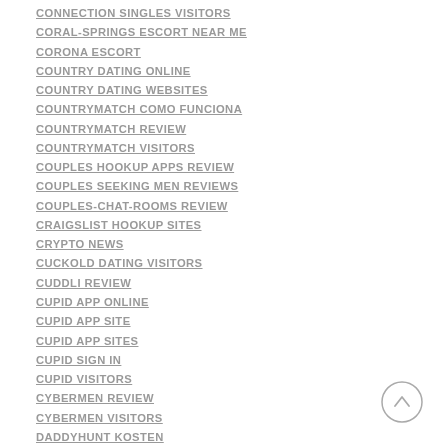CONNECTION SINGLES VISITORS
CORAL-SPRINGS ESCORT NEAR ME
CORONA ESCORT
COUNTRY DATING ONLINE
COUNTRY DATING WEBSITES
COUNTRYMATCH COMO FUNCIONA
COUNTRYMATCH REVIEW
COUNTRYMATCH VISITORS
COUPLES HOOKUP APPS REVIEW
COUPLES SEEKING MEN REVIEWS
COUPLES-CHAT-ROOMS REVIEW
CRAIGSLIST HOOKUP SITES
CRYPTO NEWS
CUCKOLD DATING VISITORS
CUDDLI REVIEW
CUPID APP ONLINE
CUPID APP SITE
CUPID APP SITES
CUPID SIGN IN
CUPID VISITORS
CYBERMEN REVIEW
CYBERMEN VISITORS
DADDYHUNT KOSTEN